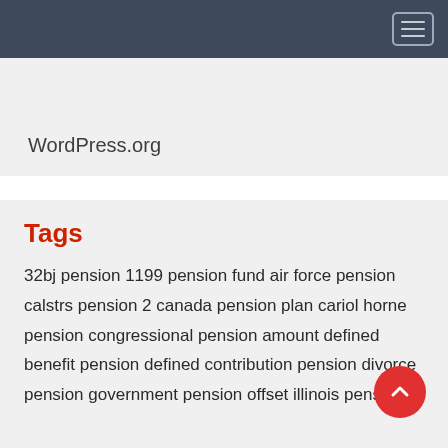Navigation bar with hamburger menu
WordPress.org
Tags
32bj pension 1199 pension fund air force pension calstrs pension 2 canada pension plan cariol horne pension congressional pension amount defined benefit pension defined contribution pension divorce pension government pension offset illinois pension